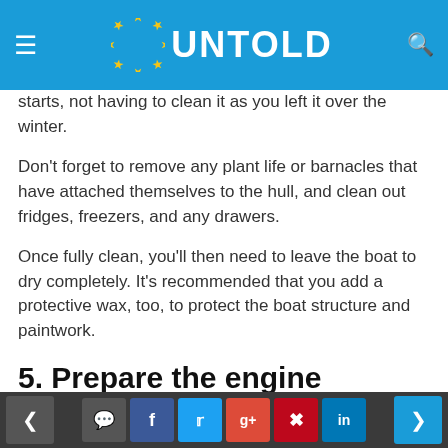UNTOLD
starts, not having to clean it as you left it over the winter.
Don't forget to remove any plant life or barnacles that have attached themselves to the hull, and clean out fridges, freezers, and any drawers.
Once fully clean, you'll then need to leave the boat to dry completely. It's recommended that you add a protective wax, too, to protect the boat structure and paintwork.
5. Prepare the engine
To get the engine prepared for the long winter, you'll need to flush it out with fresh water to
< > social share buttons